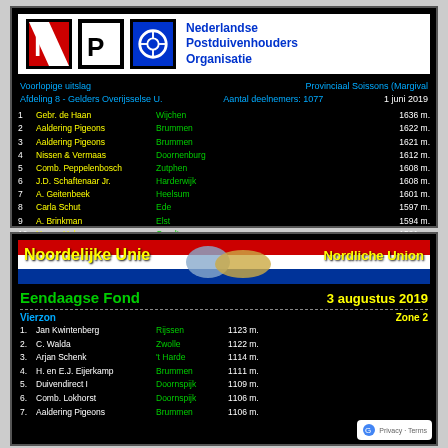[Figure (infographic): NPO (Nederlandse Postduivenhouders Organisatie) race results card on black background with logo, race details, and top 10 pigeon racing results for Provinciaal Soissons (Margival), Afdeling 8 - Gelders Overijsselse U., 1 juni 2019]
[Figure (infographic): Noordelijke Unie / Nordliche Union race results card showing Eendaagse Fond from Vierzon, 3 augustus 2019, Zone 2, with top 7 visible results]